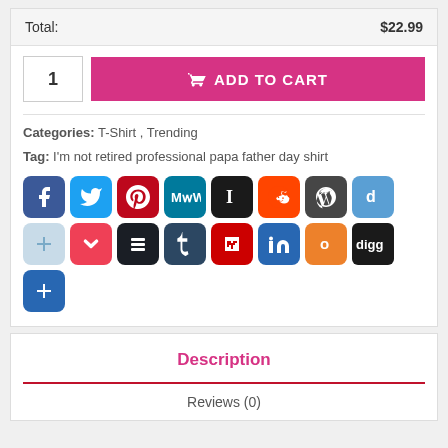Total: $22.99
1  ADD TO CART
Categories: T-Shirt , Trending
Tag: I'm not retired professional papa father day shirt
[Figure (infographic): Social media sharing icons: Facebook, Twitter, Pinterest, MeWe, Instapaper, Reddit, WordPress, Diigo, More; second row: Pocket, Buffer, Tumblr, Flipboard, LinkedIn, Odnoklassniki, Digg, More]
Description
Reviews (0)